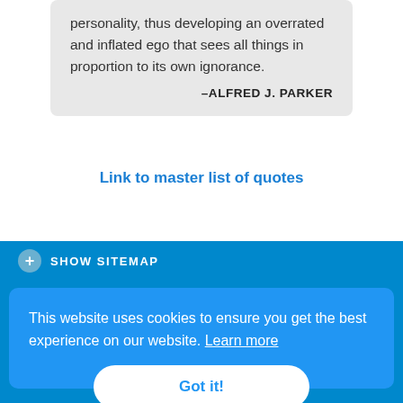personality, thus developing an overrated and inflated ego that sees all things in proportion to its own ignorance.
–ALFRED J. PARKER
Link to master list of quotes
SHOW SITEMAP
This website uses cookies to ensure you get the best experience on our website. Learn more
Got it!